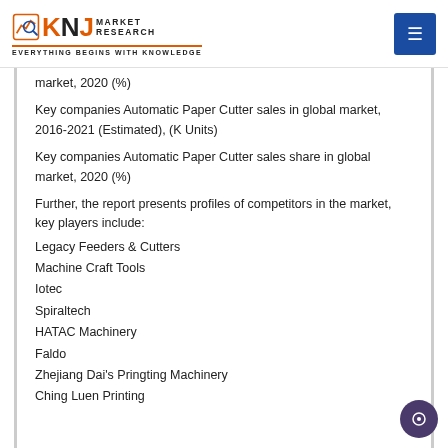KNJ MARKET RESEARCH — Everything Begins with Knowledge
market, 2020 (%)
Key companies Automatic Paper Cutter sales in global market, 2016-2021 (Estimated), (K Units)
Key companies Automatic Paper Cutter sales share in global market, 2020 (%)
Further, the report presents profiles of competitors in the market, key players include:
Legacy Feeders & Cutters
Machine Craft Tools
Iotec
Spiraltech
HATAC Machinery
Faldo
Zhejiang Dai's Pringting Machinery
Ching Luen Printing